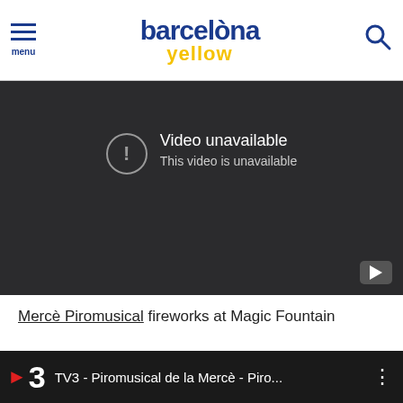barcelòna yellow — menu | search
[Figure (screenshot): YouTube embedded video player showing 'Video unavailable / This video is unavailable' error message on dark background with YouTube play button icon in bottom right corner]
Mercè Piromusical fireworks at Magic Fountain
[Figure (screenshot): Second video thumbnail showing TV3 logo with red arrow and number 3, title 'TV3 - Piromusical de la Mercè - Piro...' on dark background with three-dot menu icon]